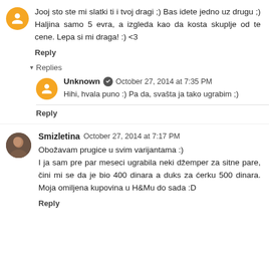Jooj sto ste mi slatki ti i tvoj dragi ;) Bas idete jedno uz drugu ;) Haljina samo 5 evra, a izgleda kao da kosta skuplje od te cene. Lepa si mi draga! :) <3
Reply
▾ Replies
Unknown  October 27, 2014 at 7:35 PM
Hihi, hvala puno :) Pa da, svašta ja tako ugrabim ;)
Reply
Smizletina  October 27, 2014 at 7:17 PM
Obožavam prugice u svim varijantama :)
I ja sam pre par meseci ugrabila neki džemper za sitne pare, čini mi se da je bio 400 dinara a duks za ćerku 500 dinara. Moja omiljena kupovina u H&Mu do sada :D
Reply